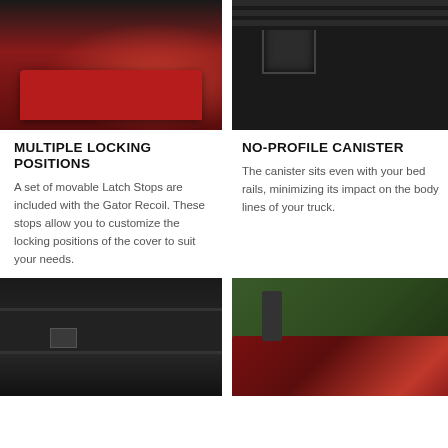[Figure (photo): Red Ford truck tailgate/rear view with black wheels, outdoor setting]
[Figure (photo): Close-up of a black truck bed canister/rail hardware, showing lock mechanism]
MULTIPLE LOCKING POSITIONS
A set of movable Latch Stops are included with the Gator Recoil. These stops allow you to customize the locking positions of the cover to suit your needs.
NO-PROFILE CANISTER
The canister sits even with your bed rails, minimizing its impact on the body lines of your truck.
[Figure (photo): Close-up of black retractable truck bed cover canister at truck rail level with latch hardware visible]
[Figure (photo): Man opening a retractable truck bed cover on a dark red pickup truck in outdoor/green setting]